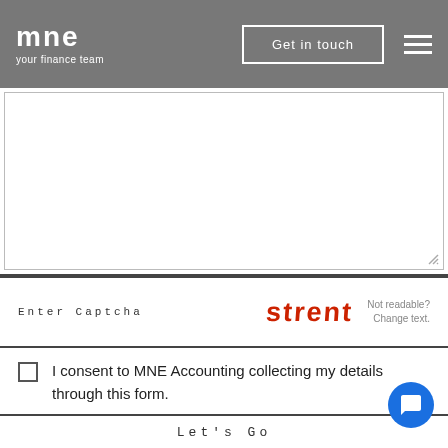[Figure (logo): MNE logo with text 'mne' and tagline 'your finance team' on grey background with 'Get in touch' button and hamburger menu]
[Figure (screenshot): Empty textarea form field with resize handle in bottom right corner]
Enter Captcha
[Figure (other): CAPTCHA image showing word 'strent' in red distorted text]
Not readable? Change text.
I consent to MNE Accounting collecting my details through this form.
Let's Go